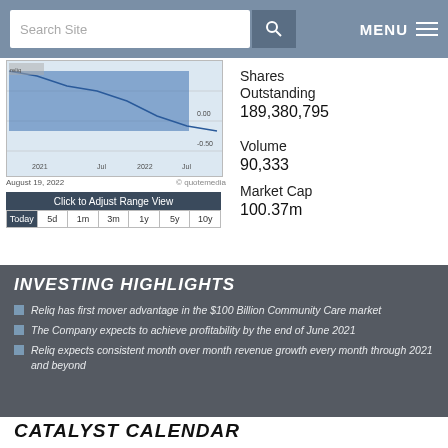[Figure (screenshot): Website navigation bar with search box and menu button]
[Figure (line-chart): Stock price chart showing price from 2021 to Jul 2022, with y-axis values around 0.00 to -0.50]
August 19, 2022
© quotemedia
Click to Adjust Range View
Today  5d  1m  3m  1y  5y  10y
Shares Outstanding  189,380,795
Volume  90,333
Market Cap  100.37m
INVESTING HIGHLIGHTS
Reliq has first mover advantage in the $100 Billion Community Care market
The Company expects to achieve profitability by the end of June 2021
Reliq expects consistent month over month revenue growth every month through 2021 and beyond
CATALYST CALENDAR